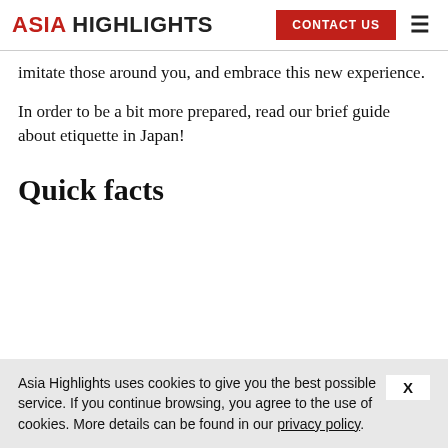ASIA HIGHLIGHTS | CONTACT US
imitate those around you, and embrace this new experience.
In order to be a bit more prepared, read our brief guide about etiquette in Japan!
Quick facts
Asia Highlights uses cookies to give you the best possible service. If you continue browsing, you agree to the use of cookies. More details can be found in our privacy policy.